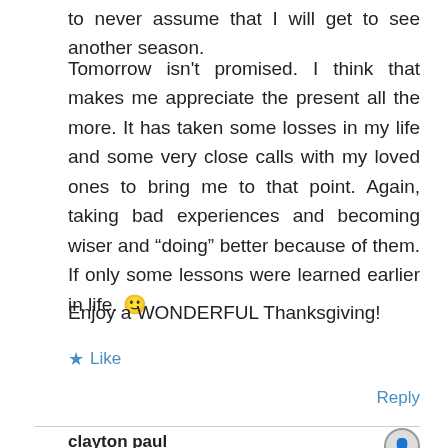to never assume that I will get to see another season.
Tomorrow isn't promised. I think that makes me appreciate the present all the more. It has taken some losses in my life and some very close calls with my loved ones to bring me to that point. Again, taking bad experiences and becoming wiser and “doing” better because of them. If only some lessons were learned earlier in life. 🙂
Enjoy a WONDERFUL Thanksgiving!
★ Like
Reply
clayton paul